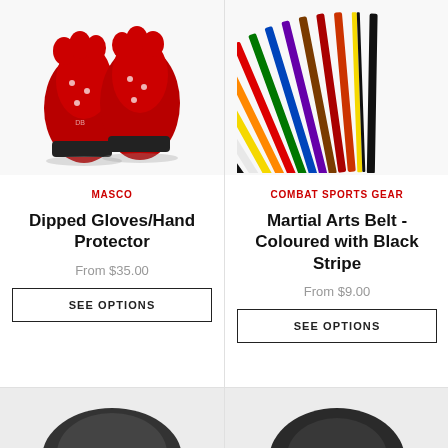[Figure (photo): Red dipped martial arts gloves / hand protectors with black velcro strap]
MASCO
Dipped Gloves/Hand Protector
From $35.00
SEE OPTIONS
[Figure (photo): Fanned-out coloured martial arts belts with black stripe, showing multiple colours]
COMBAT SPORTS GEAR
Martial Arts Belt - Coloured with Black Stripe
From $9.00
SEE OPTIONS
[Figure (photo): Bottom partial preview of product on left column]
[Figure (photo): Bottom partial preview of product on right column]